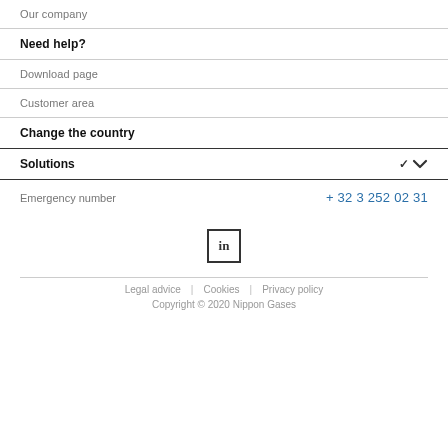Our company
Need help?
Download page
Customer area
Change the country
Solutions
Emergency number   + 32 3 252 02 31
[Figure (logo): LinkedIn logo icon in a square border]
Legal advice | Cookies | Privacy policy
Copyright © 2020 Nippon Gases